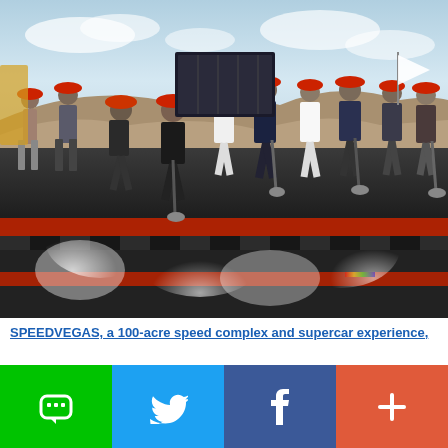[Figure (photo): Group of people wearing red hard hats at a groundbreaking ceremony in a desert setting, shoveling dirt with smoke/dust rising, standing on a black and red checkered surface with red carpet strips]
SPEEDVEGAS, a 100-acre speed complex and supercar experience,